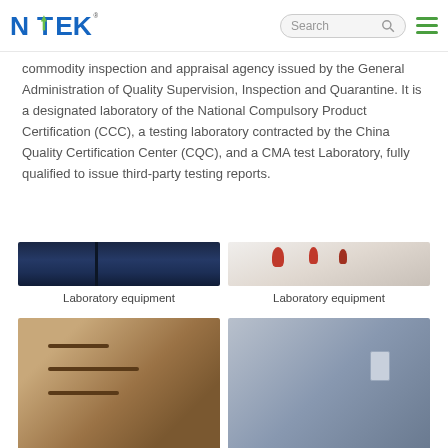NTEK — Search and navigation header
commodity inspection and appraisal agency issued by the General Administration of Quality Supervision, Inspection and Quarantine. It is a designated laboratory of the National Compulsory Product Certification (CCC), a testing laboratory contracted by the China Quality Certification Center (CQC), and a CMA test Laboratory, fully qualified to issue third-party testing reports.
[Figure (photo): Laboratory equipment photo — dark blue instrument panels]
[Figure (photo): Laboratory equipment photo — red electrical connectors on light background]
Laboratory equipment
Laboratory equipment
[Figure (photo): Laboratory equipment photo — partial view at bottom left]
[Figure (photo): Laboratory equipment photo — partial view at bottom right]